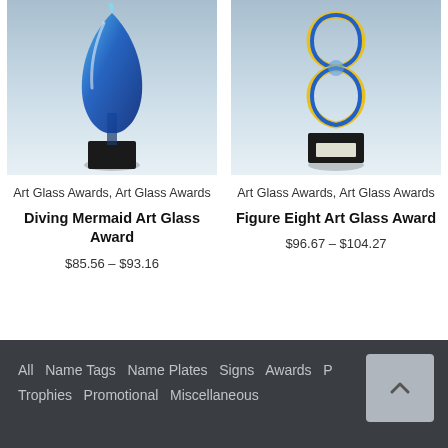[Figure (photo): Blue art glass diving mermaid award trophy on a black square base, with a light blue gradient background]
Art Glass Awards, Art Glass Awards
Diving Mermaid Art Glass Award
$85.56 – $93.16
[Figure (photo): Figure eight shaped art glass award in blue and gold colors on a black base with a plaque, light blue gradient background]
Art Glass Awards, Art Glass Awards
Figure Eight Art Glass Award
$96.67 – $104.27
All  Name Tags  Name Plates  Signs  Awards  P…
Trophies  Promotional  Miscellaneous